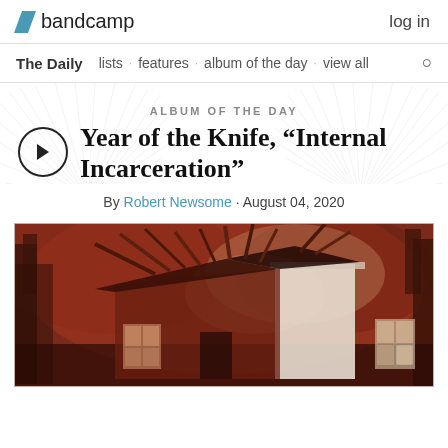bandcamp   log in
The Daily · lists · features · album of the day · view all
ALBUM OF THE DAY
Year of the Knife, “Internal Incarceration”
By Robert Newsome · August 04, 2020
[Figure (illustration): Album cover artwork for Year of the Knife Internal Incarceration showing a dilapidated collapsing house against a reddish-brown painted background with dark trees]